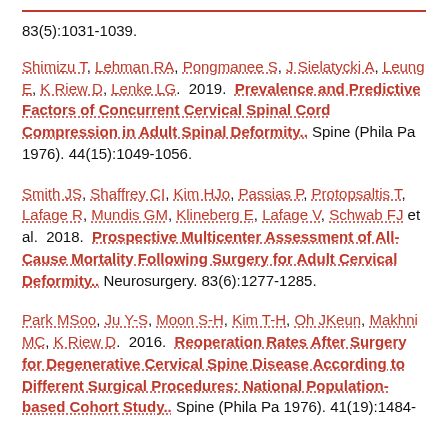83(5):1031-1039.
Shimizu T, Lehman RA, Pongmanee S, J Sielatycki A, Leung E, K Riew D, Lenke LG. 2019. Prevalence and Predictive Factors of Concurrent Cervical Spinal Cord Compression in Adult Spinal Deformity.. Spine (Phila Pa 1976). 44(15):1049-1056.
Smith JS, Shaffrey CI, Kim HJo, Passias P, Protopsaltis T, Lafage R, Mundis GM, Klineberg E, Lafage V, Schwab FJ et al. 2018. Prospective Multicenter Assessment of All-Cause Mortality Following Surgery for Adult Cervical Deformity.. Neurosurgery. 83(6):1277-1285.
Park MSoo, Ju Y-S, Moon S-H, Kim T-H, Oh JKeun, Makhni MC, K Riew D. 2016. Reoperation Rates After Surgery for Degenerative Cervical Spine Disease According to Different Surgical Procedures: National Population-based Cohort Study.. Spine (Phila Pa 1976). 41(19):1484-